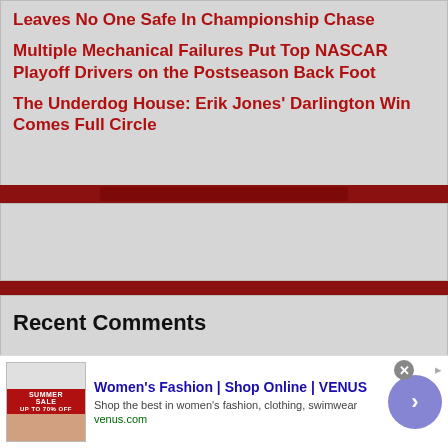Leaves No One Safe In Championship Chase
Multiple Mechanical Failures Put Top NASCAR Playoff Drivers on the Postseason Back Foot
The Underdog House: Erik Jones' Darlington Win Comes Full Circle
[Figure (photo): Red NASCAR-themed banner/divider with car imagery]
[Figure (photo): Gray placeholder block]
[Figure (photo): Red divider bar]
Recent Comments
[Figure (screenshot): Advertisement: Women's Fashion | Shop Online | VENUS. Shop the best in women's fashion, clothing, swimwear. venus.com]